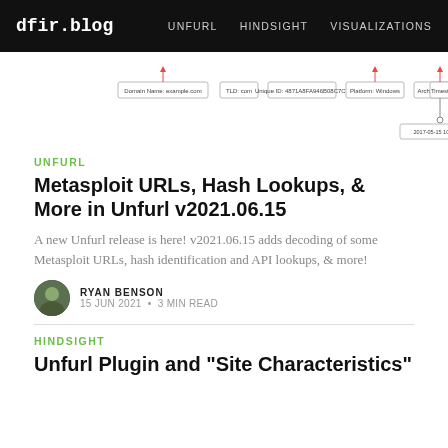dfir.blog  UNFURL  HINDSIGHT  VISUALIZATIONS
[Figure (screenshot): A node/graph diagram showing URL components: Domain Name: example.com, TLD: com, Unique ID, Platform: Windows, Architecture: x64, Timestamp: 2017-05-15 10:02:51]
UNFURL
Metasploit URLs, Hash Lookups, & More in Unfurl v2021.06.15
A new Unfurl release is here! v2021.06.15 adds decoding of some Metasploit URLs, hash identification and API lookups, & more!
RYAN BENSON
15 JUN 2021 • 3 MIN READ
HINDSIGHT
Unfurl Plugin and "Site Characteristics"